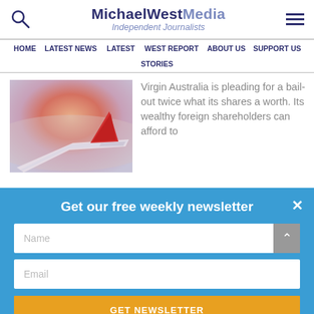MichaelWest Media — Independent Journalists
HOME  LATEST NEWS  LATEST  WEST REPORT  ABOUT US  SUPPORT US  STORIES
[Figure (photo): Airplane wing with red tail fin against a hazy pink-orange sunset sky]
Virgin Australia is pleading for a bail-out twice what its shares a worth. Its wealthy foreign shareholders can afford to
Get our free weekly newsletter
Name
Email
GET NEWSLETTER
Share This